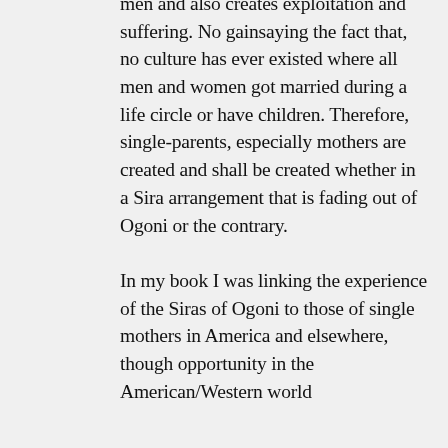men and also creates exploitation and suffering. No gainsaying the fact that, no culture has ever existed where all men and women got married during a life circle or have children. Therefore, single-parents, especially mothers are created and shall be created whether in a Sira arrangement that is fading out of Ogoni or the contrary.

In my book I was linking the experience of the Siras of Ogoni to those of single mothers in America and elsewhere, though opportunity in the American/Western world